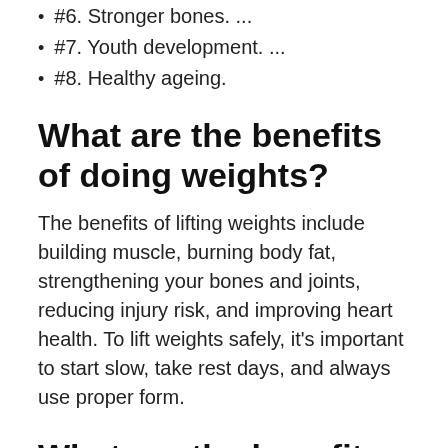#6. Stronger bones. ...
#7. Youth development. ...
#8. Healthy ageing.
What are the benefits of doing weights?
The benefits of lifting weights include building muscle, burning body fat, strengthening your bones and joints, reducing injury risk, and improving heart health. To lift weights safely, it's important to start slow, take rest days, and always use proper form.
What are the benefits of training exercises?